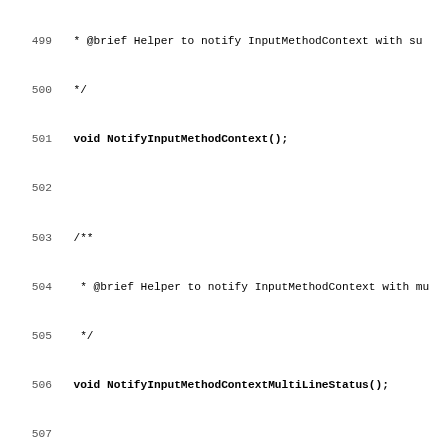Source code listing lines 499-530, C++ header file with Doxygen comments and method declarations.